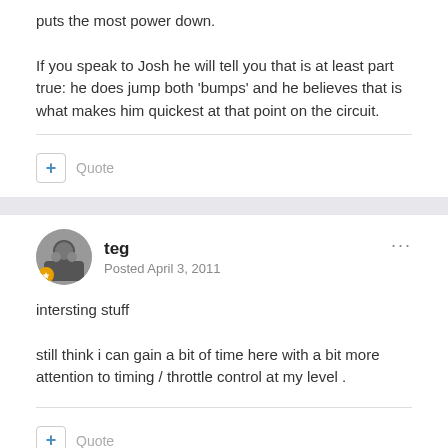puts the most power down.
If you speak to Josh he will tell you that is at least part true: he does jump both 'bumps' and he believes that is what makes him quickest at that point on the circuit.
+ Quote
teg
Posted April 3, 2011
intersting stuff
still think i can gain a bit of time here with a bit more attention to timing / throttle control at my level .
+ Quote